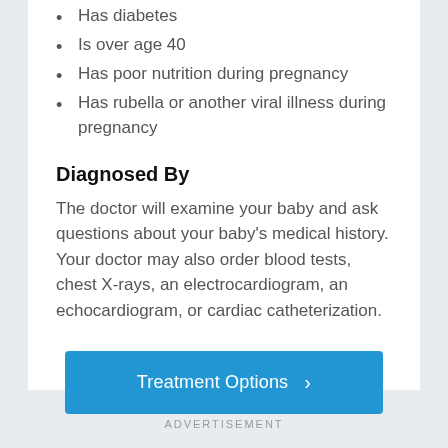Has diabetes
Is over age 40
Has poor nutrition during pregnancy
Has rubella or another viral illness during pregnancy
Diagnosed By
The doctor will examine your baby and ask questions about your baby's medical history. Your doctor may also order blood tests, chest X-rays, an electrocardiogram, an echocardiogram, or cardiac catheterization.
Treatment Options
ADVERTISEMENT